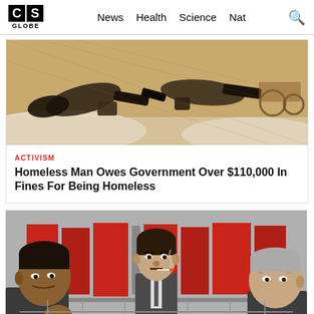CS GLOBE — News  Health  Science  Nat
[Figure (photo): Overhead photograph of people sleeping or lying on the ground, possibly homeless individuals on a floor or sidewalk, with bags and belongings visible.]
ACTIVISM
Homeless Man Owes Government Over $110,000 In Fines For Being Homeless
[Figure (illustration): Illustrated artwork showing three stylized portrait figures side by side. The central figure is a man in a suit smoking a cigarette. Red and grey colors dominate the background. The left and right figures are partially visible.]